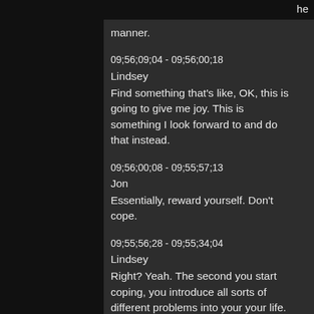manner.
09;56;09;04 - 09;56;00;18
Lindsey
Find something that's like, OK, this is going to give me joy. This is something I look forward to and do that instead.
09;56;00;08 - 09;55;57;13
Jon
Essentially, reward yourself. Don't cope.
09;55;56;28 - 09;55;34;04
Lindsey
Right? Yeah. The second you start coping, you introduce all sorts of different problems into your your life.